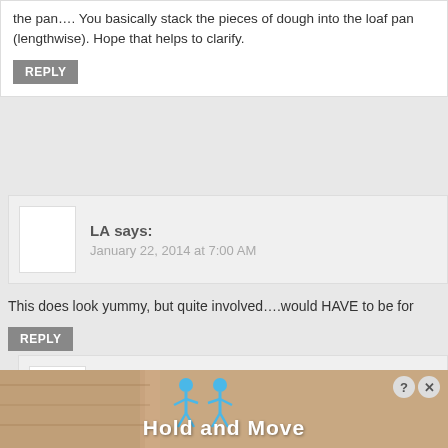the pan…. You basically stack the pieces of dough into the loaf pan (lengthwise). Hope that helps to clarify.
REPLY
LA says:
January 22, 2014 at 7:00 AM
This does look yummy, but quite involved….would HAVE to be for
REPLY
Kathi says:
January 22, 2014 at 12:52 PM
Yes, it's definitely something to make for a special occasion. It tak prepare, but it's easier than you think… and a super fun baking pr
REPLY
[Figure (infographic): Advertisement banner showing 'Hold and Move' with blue cartoon figures and close/help buttons]